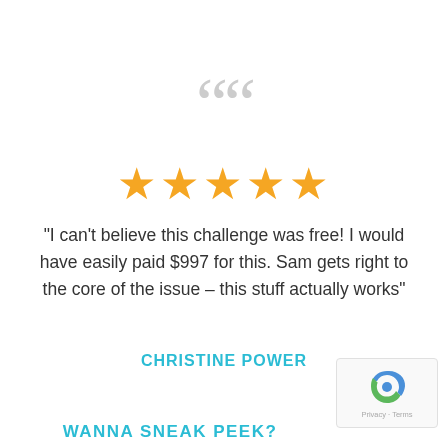[Figure (illustration): Large grey double open-quote mark decorative element]
[Figure (illustration): Five gold/orange filled star rating icons in a row]
“I can’t believe this challenge was free! I would have easily paid $997 for this. Sam gets right to the core of the issue – this stuff actually works”
CHRISTINE POWER
WANNA SNEAK PEEK?
[Figure (logo): reCAPTCHA badge with Google logo and Privacy - Terms links]